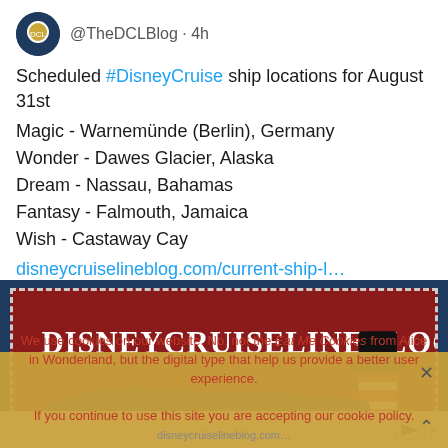@TheDCLBlog · 4h
Scheduled #DisneyCruise ship locations for August 31st
Magic - Warnemünde (Berlin), Germany
Wonder - Dawes Glacier, Alaska
Dream - Nassau, Bahamas
Fantasy - Falmouth, Jamaica
Wish - Castaway Cay
disneycruiselineblog.com/current-ship-l…
[Figure (screenshot): Disney Cruise Line Blog website header with red background and Mickey Mouse hat chimney logo]
We use cookies on our website. No, not the Eat Me Cookies from Alice in Wonderland, but the digital type that help us provide a better user experience.
If you continue to use this site you are accepting our cookie policy.
disneycruiselineblog.com…
Accept   Read more